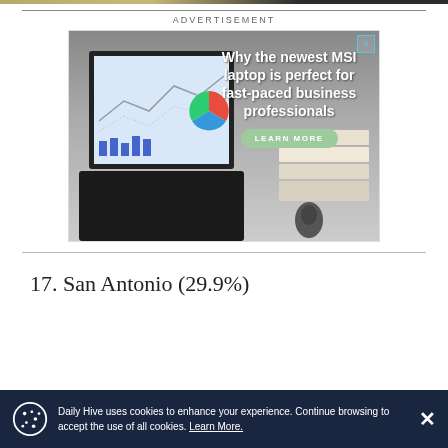ADVERTISEMENT
[Figure (photo): Advertisement for MSI laptop showing a laptop with business analytics dashboard on screen, stacked notebooks, and a mouse. Text reads: 'Why the newest MSI laptop is perfect for fast-paced business professionals' with a 'LEARN MORE' button.]
17. San Antonio (29.9%)
Daily Hive uses cookies to enhance your experience. Continue browsing to accept the use of all cookies. Learn More.